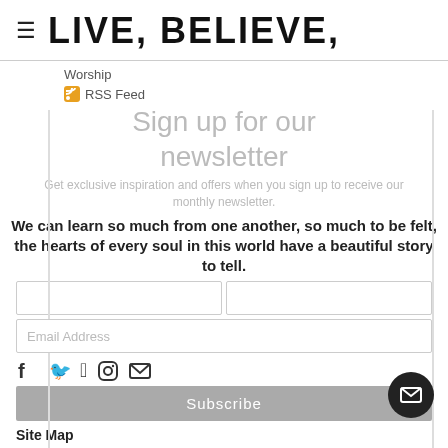LIVE, BELIEVE,
Worship
RSS Feed
Sign up for our newsletter
Get exclusive inspiration and offers when you sign up to receive our monthly newsletter.
We can learn so much from one another, so much to be felt, the hearts of every soul in this world have a beautiful story to tell.
Email Address
Subscribe
Site Map
Written Works